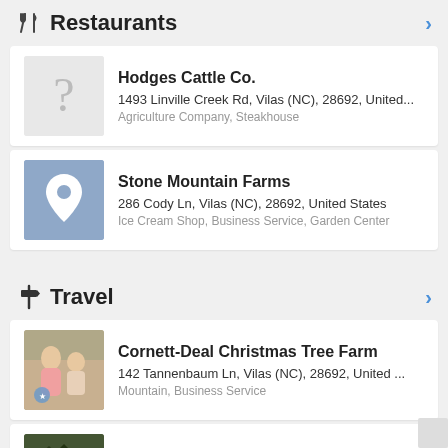Restaurants
Hodges Cattle Co. — 1493 Linville Creek Rd, Vilas (NC), 28692, United... — Agriculture Company, Steakhouse
Stone Mountain Farms — 286 Cody Ln, Vilas (NC), 28692, United States — Ice Cream Shop, Business Service, Garden Center
Travel
Cornett-Deal Christmas Tree Farm — 142 Tannenbaum Ln, Vilas (NC), 28692, United ... — Mountain, Business Service
Lazy Bear Lodge